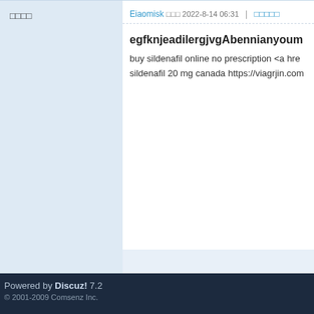□□□□
Eiaomisk □□□ 2022-8-14 06:31 | □□□□□
egfknjeadilergjvgAbennianyoum
buy sildenafil online no prescription <a hre sildenafil 20 mg canada https://viagrjin.com
Powered by Discuz! 7.2
© 2001-2009 Comsenz Inc.